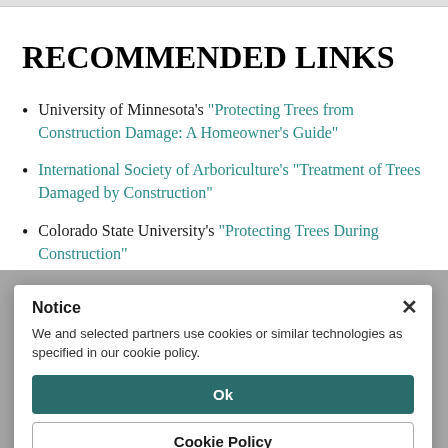RECOMMENDED LINKS
University of Minnesota's “Protecting Trees from Construction Damage: A Homeowner’s Guide”
International Society of Arboriculture’s “Treatment of Trees Damaged by Construction”
Colorado State University’s “Protecting Trees During Construction”
Notice
We and selected partners use cookies or similar technologies as specified in our cookie policy.
Ok
Cookie Policy